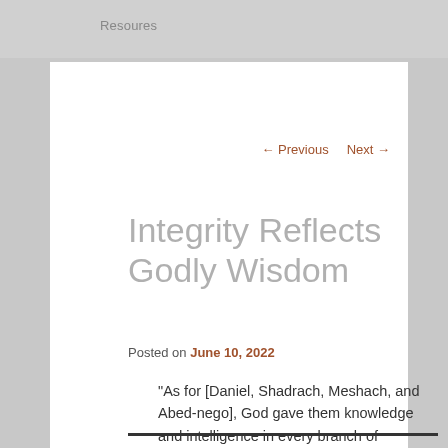Resoures
← Previous   Next →
Integrity Reflects Godly Wisdom
Posted on June 10, 2022
“As for [Daniel, Shadrach, Meshach, and Abed-nego], God gave them knowledge and intelligence in every branch of literature and wisdom; Daniel even understood all kinds of visions and dreams” (Daniel 1:17).